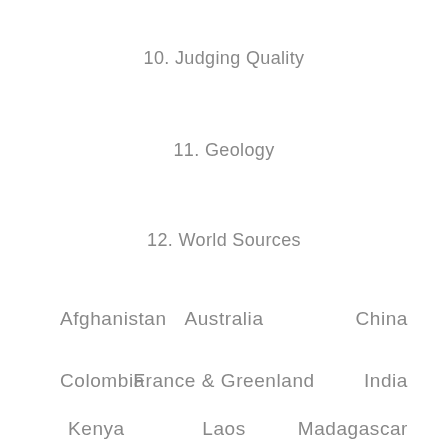10. Judging Quality
11. Geology
12. World Sources
Afghanistan
Australia
China
Colombia
France & Greenland
India
Kenya
Laos
Madagascar